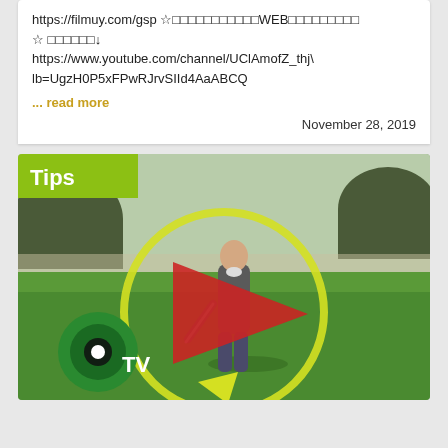https://filmuy.com/gsp ☆□□□□□□□□□□□WEB□□□□□□□□□ ☆ □□□□□□↓ https://www.youtube.com/channel/UClAmofZ_thj\lb=UgzH0P5xFPwRJrvSIId4AaABCQ
... read more
November 28, 2019
[Figure (photo): Video thumbnail showing a man on a golf course mid-swing, overlaid with a yellow circular play button arrow, a red play triangle, a green TV logo with eye icon, and a yellow-green 'Tips' badge in the top-left corner.]